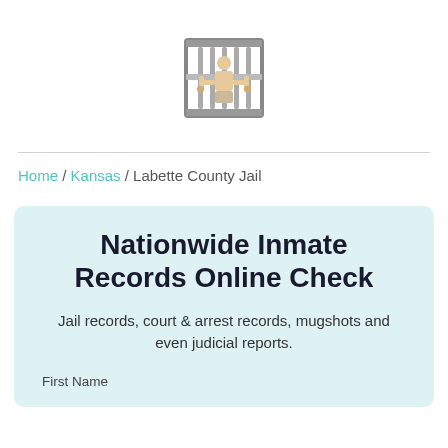[Figure (logo): Jail/prison icon showing a person behind bars with hands gripping bars, gray bars with tan/skin-colored figure, centered at top of page]
Home / Kansas / Labette County Jail
Nationwide Inmate Records Online Check
Jail records, court & arrest records, mugshots and even judicial reports.
First Name